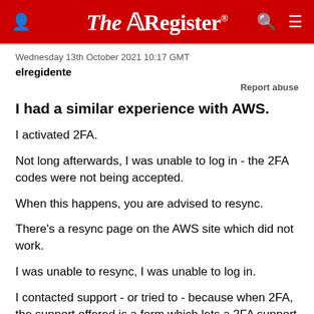The Register
Wednesday 13th October 2021 10:17 GMT
elregidente
Report abuse
I had a similar experience with AWS.
I activated 2FA.
Not long afterwards, I was unable to log in - the 2FA codes were not being accepted.
When this happens, you are advised to resync.
There's a resync page on the AWS site which did not work.
I was unable to resync, I was unable to log in.
I contacted support - or tried to - because when 2FA, the support offered is a form which lets a 2FA support team know you cannot log in. There's no way to actually send